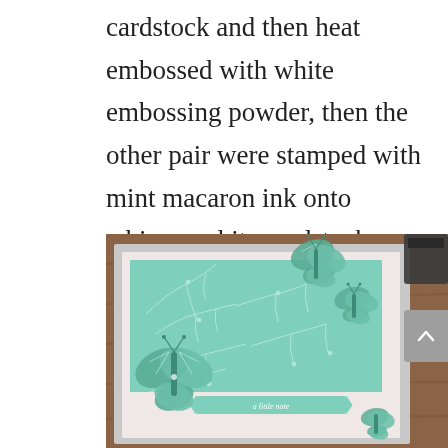cardstock and then heat embossed with white embossing powder, then the other pair were stamped with mint macaron ink onto whisper white cardstock.
[Figure (photo): A handmade greeting card on a wooden table. The card features a mint green background with white embossed floral/branch pattern. Three butterfly die-cuts in mint and grey are attached to the card. A label banner at the bottom reads 'a little note' in script. The card has a light pink/white mat layer and silver/metallic backing.]